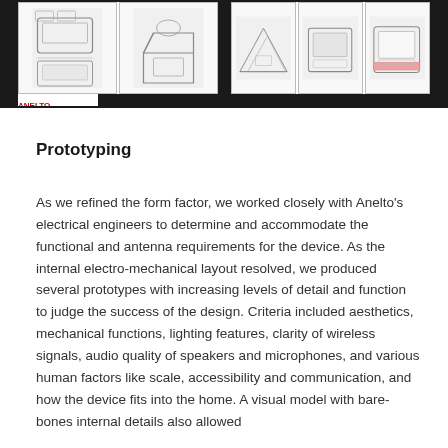[Figure (illustration): A collage of product design sketches showing various views and configurations of a device, displayed against a black background. The sketches are arranged in two groups separated by a vertical black divider, showing multiple angles and form factor explorations of what appears to be a home communication/monitoring device.]
Prototyping
As we refined the form factor, we worked closely with Anelto's electrical engineers to determine and accommodate the functional and antenna requirements for the device. As the internal electro-mechanical layout resolved, we produced several prototypes with increasing levels of detail and function to judge the success of the design. Criteria included aesthetics, mechanical functions, lighting features, clarity of wireless signals, audio quality of speakers and microphones, and various human factors like scale, accessibility and communication, and how the device fits into the home. A visual model with bare-bones internal details also allowed